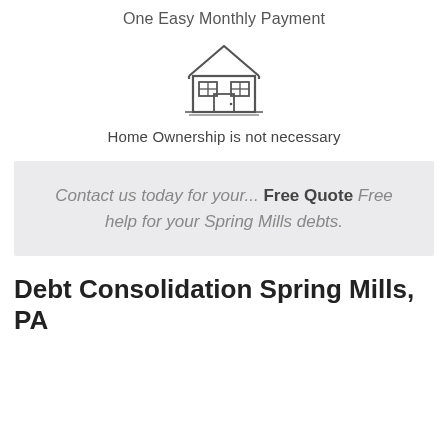One Easy Monthly Payment
[Figure (illustration): Line drawing icon of a house with two windows and a door]
Home Ownership is not necessary
Contact us today for your... Free Quote Free help for your Spring Mills debts.
Debt Consolidation Spring Mills, PA